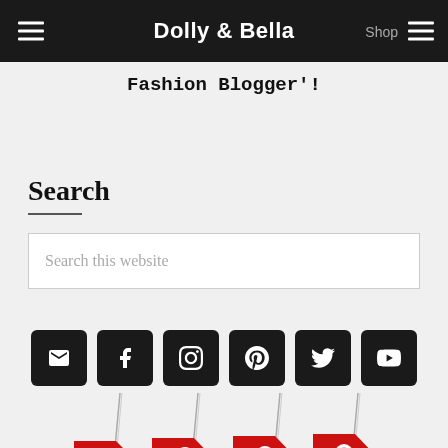Dolly & Bella | Shop
Fashion Blogger'!
Search
Search this website
[Figure (infographic): Social media icon buttons: email, facebook, instagram, pinterest, twitter, youtube — black rounded square buttons with white icons]
[Figure (photo): Red price tags hanging from strings, partially visible at bottom of page]